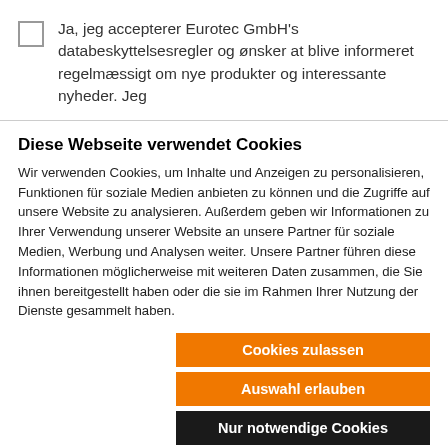Ja, jeg accepterer Eurotec GmbH's databeskyttelsesregler og ønsker at blive informeret regelmæssigt om nye produkter og interessante nyheder. Jeg
Diese Webseite verwendet Cookies
Wir verwenden Cookies, um Inhalte und Anzeigen zu personalisieren, Funktionen für soziale Medien anbieten zu können und die Zugriffe auf unsere Website zu analysieren. Außerdem geben wir Informationen zu Ihrer Verwendung unserer Website an unsere Partner für soziale Medien, Werbung und Analysen weiter. Unsere Partner führen diese Informationen möglicherweise mit weiteren Daten zusammen, die Sie ihnen bereitgestellt haben oder die sie im Rahmen Ihrer Nutzung der Dienste gesammelt haben.
Cookies zulassen
Auswahl erlauben
Nur notwendige Cookies
Notwendig  Präferenzen  Statistiken  Marketing  Details zeigen